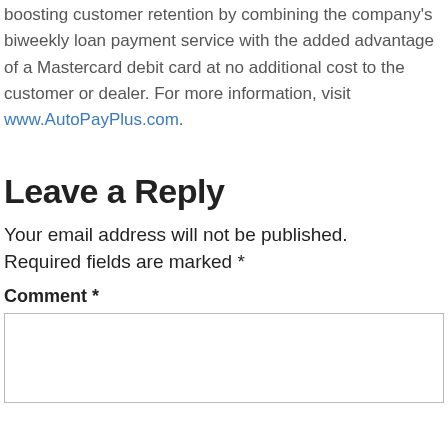boosting customer retention by combining the company's biweekly loan payment service with the added advantage of a Mastercard debit card at no additional cost to the customer or dealer. For more information, visit www.AutoPayPlus.com.
Leave a Reply
Your email address will not be published. Required fields are marked *
Comment *